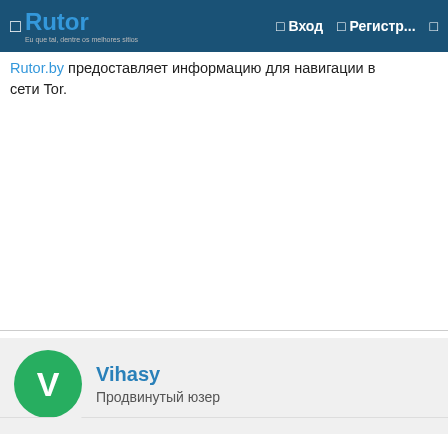Rutor — Вход — Регистр...
Rutor.by предоставляет информацию для навигации в сети Tor.
Vihasy
Продвинутый юзер
15/05/2022   #2
[Figure (other): Broken image placeholder with text: Как закачать сайт матанга]
Academia del сайт Motor usa cookies para así ofrecerte la mejor experiencia de navegación posible. Si sigues navegando sin cambiar tus ajustes de cookies o haces clic en "Aceptar" estarás dando tu consentimiento a la utilización de cookies. En caso de que no las aceptes, nuestro contenido podría sufrir variaciones y se podrá tener una mala experiencia en la web. Puedes вход obtener más información y leer nuestra política de cookies aquí.